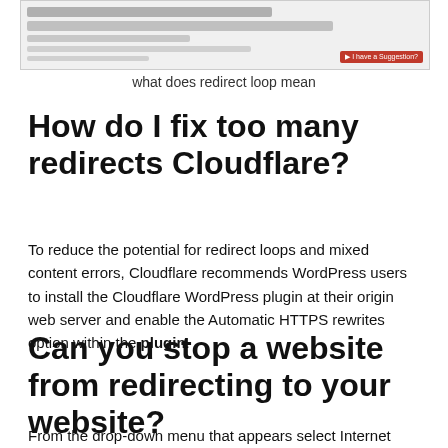[Figure (screenshot): Screenshot of a browser or search result page showing redirect loop related content]
what does redirect loop mean
How do I fix too many redirects Cloudflare?
To reduce the potential for redirect loops and mixed content errors, Cloudflare recommends WordPress users to install the Cloudflare WordPress plugin at their origin web server and enable the Automatic HTTPS rewrites option within the plugin.
Can you stop a website from redirecting to your website?
From the drop-down menu that appears select Internet options. Along the top of the window that appears you'll see a